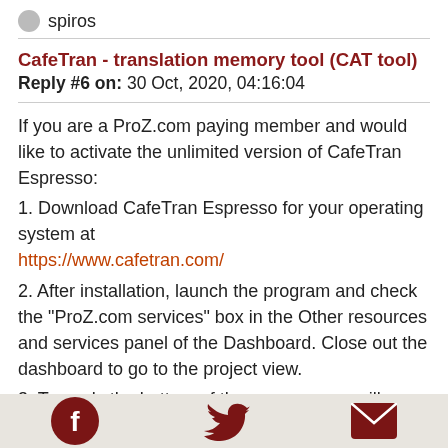spiros
CafeTran - translation memory tool (CAT tool)
Reply #6 on: 30 Oct, 2020, 04:16:04
If you are a ProZ.com paying member and would like to activate the unlimited version of CafeTran Espresso:
1. Download CafeTran Espresso for your operating system at https://www.cafetran.com/
2. After installation, launch the program and check the "ProZ.com services" box in the Other resources and services panel of the Dashboard. Close out the dashboard to go to the project view.
3. Towards the bottom of the program you will see connection options, including ProZ.com and TM-Town. Click on the tab for ProZ.com. In the login page that appears, sign in to your ProZ.com account. CafeTran will automatically "read" your membership level and activate your unlimited license.
membership level and activate your unlimited license.